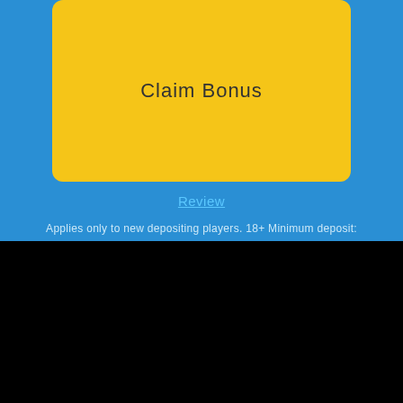Claim Bonus
Review
Applies only to new depositing players. 18+ Minimum deposit: £10. 35x Wagering requirement applies to match up bonus. Spins credited in specific games. Spins expire after 24 hours. The wagering requirement applies to spins. Terms and Conditions apply.
We use cookies on our website to give you the most relevant experience by remembering your preferences and repeat visits. By clicking “Accept All”, you consent to the use of ALL the cookies. However, you may visit “Cookie Settings” to provide a controlled consent.
Cookie Settings
Accept All